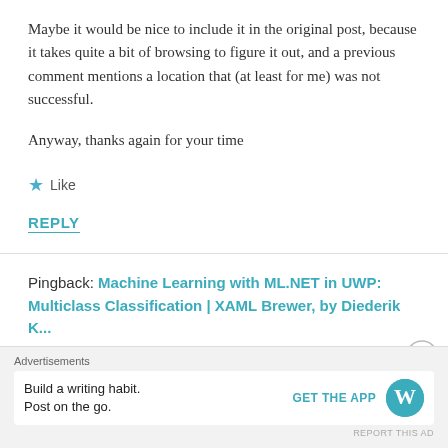Maybe it would be nice to include it in the original post, because it takes quite a bit of browsing to figure it out, and a previous comment mentions a location that (at least for me) was not successful.
Anyway, thanks again for your time
★ Like
REPLY
Pingback: Machine Learning with ML.NET in UWP: Multiclass Classification | XAML Brewer, by Diederik K...
Advertisements
Build a writing habit. Post on the go.
GET THE APP
REPORT THIS AD